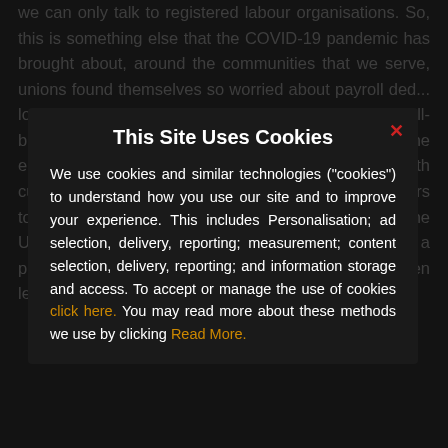we can only talk to registered labour organisations. So, this is something else that the COVID-19 pandemic has brought about, around the communities that we serve, unions found themselves so worried about payroll ded... look afte... received their... and their financial well-being... since the employers could only pay some of the employees due to the discontinuation of contracts with customers, the organisation had to assist the members to app... Fund (UIF... ht have had an adverse effe... the UIF, and the HR director stated the following, "UIF is a problem because of the volumes of work that has been left ... [employees] don't trust us
This Site Uses Cookies

We use cookies and similar technologies ("cookies") to understand how you use our site and to improve your experience. This includes Personalisation; ad selection, delivery, reporting; measurement; content selection, delivery, reporting; and information storage and access. To accept or manage the use of cookies click here. You may read more about these methods we use by clicking Read More.